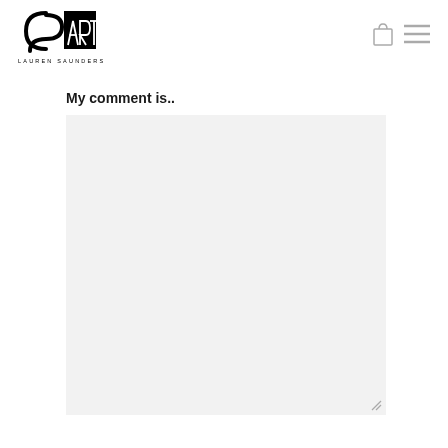[Figure (logo): CSA Art / Lauren Saunders logo with stylized text and shopping bag and hamburger menu icons]
My comment is..
[Figure (screenshot): Empty textarea input field with light gray background and resize handle at bottom-right corner]